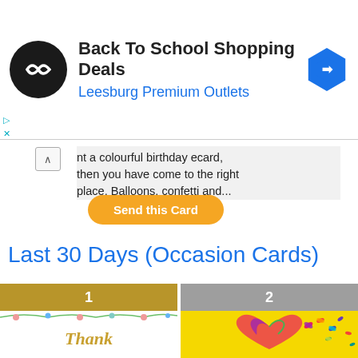[Figure (screenshot): Ad banner for Back To School Shopping Deals at Leesburg Premium Outlets with logo and navigation icon]
nt a colourful birthday ecard, then you have come to the right place. Balloons, confetti and...
Send this Card
Last 30 Days (Occasion Cards)
[Figure (photo): Rank 1 greeting card: Thank You card with floral border design and gold text]
[Figure (photo): Rank 2 greeting card: Colorful butterfly heart on yellow background]